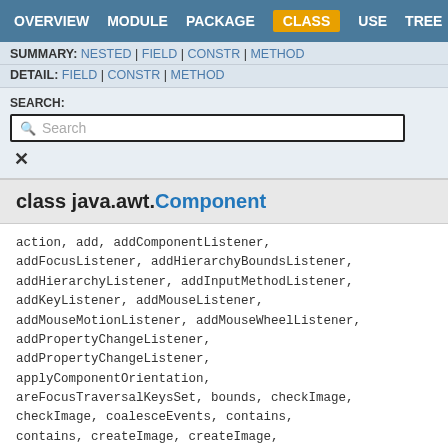OVERVIEW  MODULE  PACKAGE  CLASS  USE  TREE
SUMMARY: NESTED | FIELD | CONSTR | METHOD
DETAIL: FIELD | CONSTR | METHOD
SEARCH:
class java.awt.Component
action, add, addComponentListener, addFocusListener, addHierarchyBoundsListener, addHierarchyListener, addInputMethodListener, addKeyListener, addMouseListener, addMouseMotionListener, addMouseWheelListener, addPropertyChangeListener, addPropertyChangeListener, applyComponentOrientation, areFocusTraversalKeysSet, bounds, checkImage, checkImage, coalesceEvents, contains, contains, createImage, createImage, createVolatileImage, createVolatileImage, deliverEvent, disable, disableEvents,